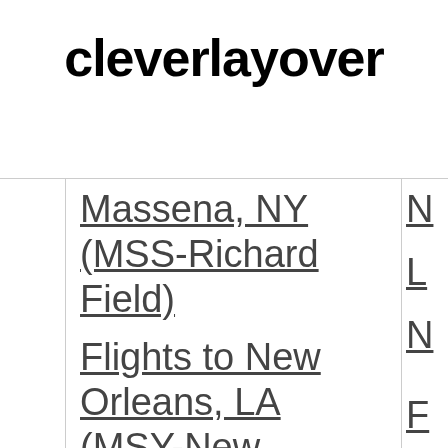cleverlayover
Massena, NY (MSS-Richard Field)
Flights to New Orleans, LA (MSY-New